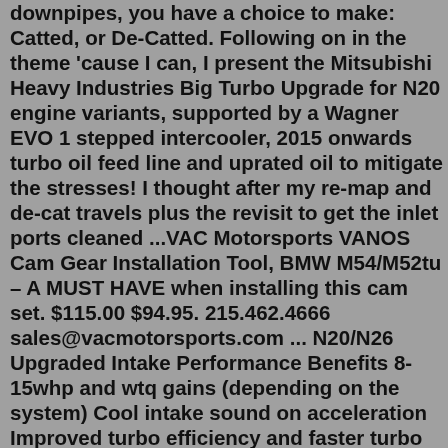downpipes, you have a choice to make: Catted, or De-Catted. Following on in the theme 'cause I can, I present the Mitsubishi Heavy Industries Big Turbo Upgrade for N20 engine variants, supported by a Wagner EVO 1 stepped intercooler, 2015 onwards turbo oil feed line and uprated oil to mitigate the stresses! I thought after my re-map and de-cat travels plus the revisit to get the inlet ports cleaned ...VAC Motorsports VANOS Cam Gear Installation Tool, BMW M54/M52tu – A MUST HAVE when installing this cam set. $115.00 $94.95. 215.462.4666 sales@vacmotorsports.com ... N20/N26 Upgraded Intake Performance Benefits 8-15whp and wtq gains (depending on the system) Cool intake sound on acceleration Improved turbo efficiency and faster turbo spool Better throttle response 40-60% increase in volumetric air flowM20 Performance Camshaft Benefits Increased horsepower/torque at all RPMs in street applications with 272/272, 284/272 grind Dramatically increased high-RPM performance in